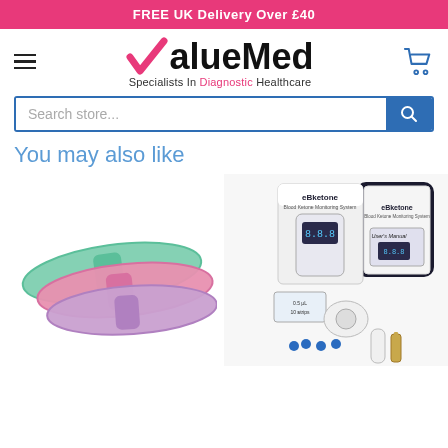FREE UK Delivery Over £40
[Figure (logo): ValueMed logo with pink checkmark and tagline 'Specialists In Diagnostic Healthcare']
Search store...
You may also like
[Figure (photo): Three colorful exercise resistance bands in green, pink, and purple stacked together]
[Figure (photo): eBketone Blood Ketone Monitoring System kit with meter, user manual, test strips, lancets, and case]